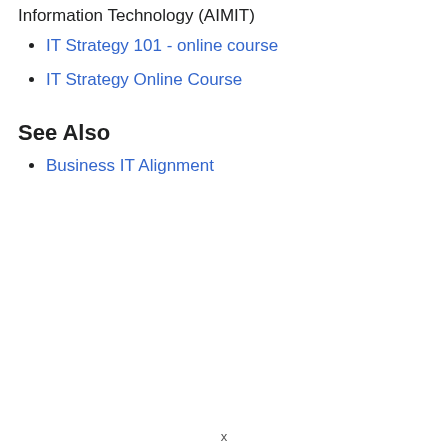Information Technology (AIMIT)
IT Strategy 101 - online course
IT Strategy Online Course
See Also
Business IT Alignment